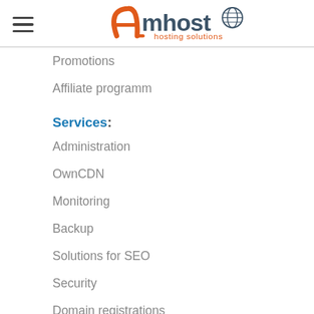[Figure (logo): Amhost hosting solutions logo with orange stylized A and globe icon]
Promotions
Affiliate programm
Services:
Administration
OwnCDN
Monitoring
Backup
Solutions for SEO
Security
Domain registrations
Our requisites
Contact us
FAQ